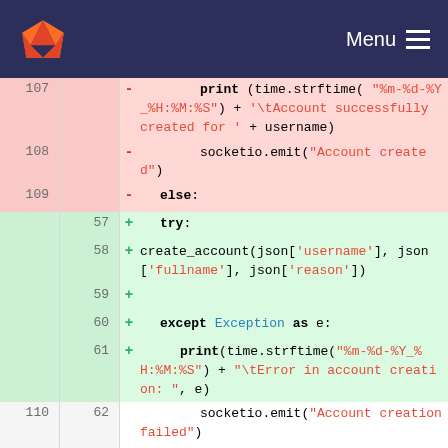GitLab menu navigation bar
[Figure (screenshot): GitLab code diff view showing removed lines (pink background, line numbers 107-109) with print and socketio.emit code, and added lines (green background, line numbers 57-61) with try/except block, and context lines (110-112, 62-64) with socketio.emit Account creation failed]